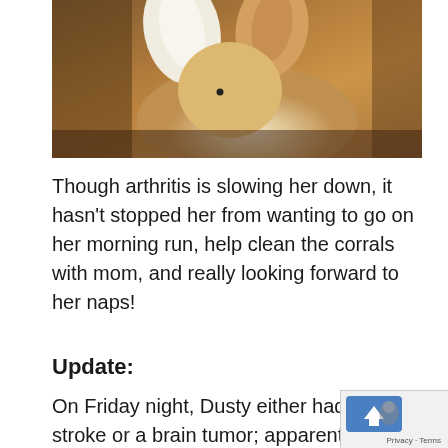[Figure (photo): Close-up photo of an animal (dog or cat) showing white fluffy ears and orange/tan fur body against a dark background]
Though arthritis is slowing her down, it hasn't stopped her from wanting to go on her morning run, help clean the corrals with mom, and really looking forward to her naps!
Update:
On Friday night, Dusty either had a stroke or a brain tumor; apparently symptoms are very close to the same. She was fine one minute, then walking into walls and not being able to control the right side of her body the next. By